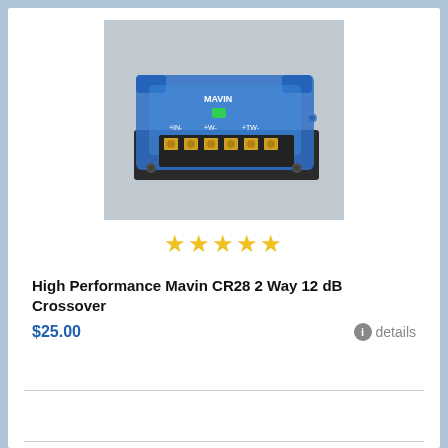[Figure (photo): Photo of the Mavin CR28 2-Way 12 dB Crossover device — a blue translucent rectangular electronics module with gold terminal connections on the front face, mounted on a dark base, with the Mavin logo visible on top.]
★★★★★
High Performance Mavin CR28 2 Way 12 dB Crossover
$25.00
details